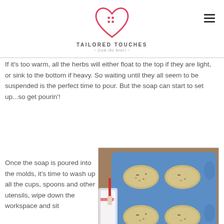Tailored Touches - from the heart
If it's too warm, all the herbs will either float to the top if they are light, or sink to the bottom if heavy. So waiting until they all seem to be suspended is the perfect time to pour. But the soap can start to set up...so get pourin'!
Once the soap is poured into the molds, it's time to wash up all the cups, spoons and other utensils, wipe down the workspace and sit
[Figure (photo): A blue silicone soap mold with several oval cavities, some filled with herbal soap mixture showing herbs mixed in. A measuring cup with soap batter is being poured into the molds.]